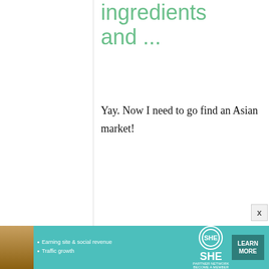ingredients and ...
Yay. Now I need to go find an Asian market!
missmochi
23 February, 2013 - 03:35
permalink
Re: Japanese Cooking 101: List of required
[Figure (infographic): SHE Partner Network advertisement banner with photo of woman, bullet points about earning site & social revenue and traffic growth, SHE logo, and LEARN MORE button]